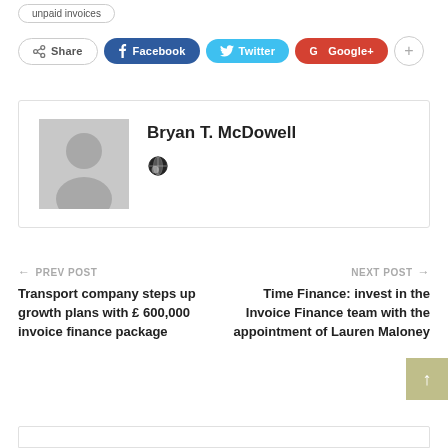unpaid invoices
Share  Facebook  Twitter  Google+  +
Bryan T. McDowell
← PREV POST
Transport company steps up growth plans with £600,000 invoice finance package
NEXT POST →
Time Finance: invest in the Invoice Finance team with the appointment of Lauren Maloney